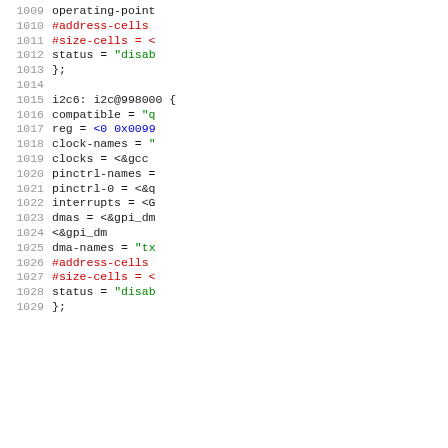Source code listing lines 1009-1029 showing device tree configuration for i2c6 node with address-cells, size-cells, status, compatible, reg, clock-names, clocks, pinctrl-names, pinctrl-0, interrupts, dmas, dma-names properties